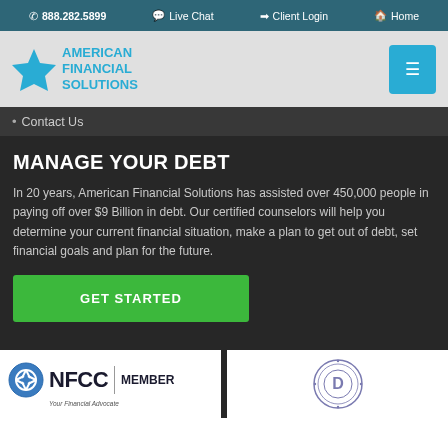888.282.5899  Live Chat  Client Login  Home
[Figure (logo): American Financial Solutions logo with cyan star and text]
Contact Us
MANAGE YOUR DEBT
In 20 years, American Financial Solutions has assisted over 450,000 people in paying off over $9 Billion in debt. Our certified counselors will help you determine your current financial situation, make a plan to get out of debt, set financial goals and plan for the future.
GET STARTED
[Figure (logo): NFCC Your Financial Advocate MEMBER logo]
[Figure (logo): Accreditation seal circular badge]